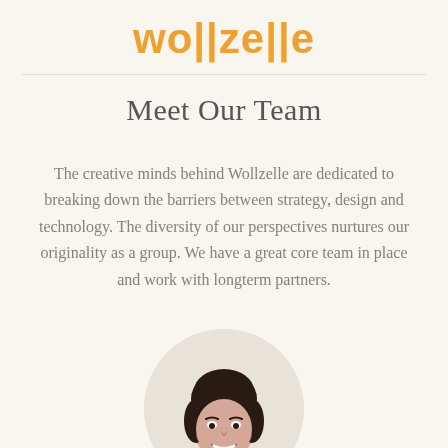wollzelle
Meet Our Team
The creative minds behind Wollzelle are dedicated to breaking down the barriers between strategy, design and technology. The diversity of our perspectives nurtures our originality as a group. We have a great core team in place and work with longterm partners.
[Figure (photo): Circular portrait photo of a smiling woman with short dark hair, professional headshot style]